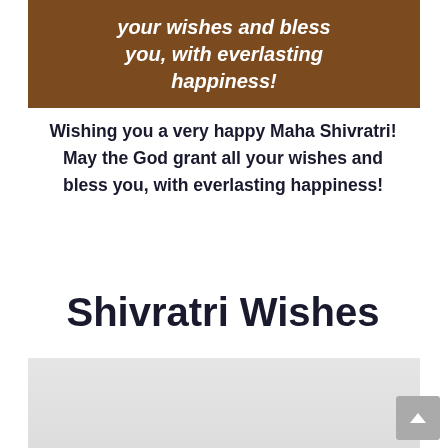[Figure (illustration): Brown banner with white bold italic text reading: your wishes and bless you, with everlasting happiness!]
Wishing you a very happy Maha Shivratri! May the God grant all your wishes and bless you, with everlasting happiness!
Shivratri Wishes
[Figure (photo): Partially visible decorative image at the bottom of the page, partially cropped]